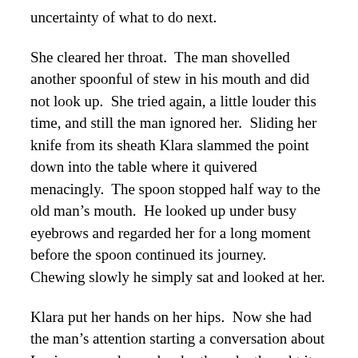uncertainty of what to do next.
She cleared her throat.  The man shovelled another spoonful of stew in his mouth and did not look up.  She tried again, a little louder this time, and still the man ignored her.  Sliding her knife from its sheath Klara slammed the point down into the table where it quivered menacingly.  The spoon stopped half way to the old man’s mouth.  He looked up under busy eyebrows and regarded her for a long moment before the spoon continued its journey.  Chewing slowly he simply sat and looked at her.
Klara put her hands on her hips.  Now she had the man’s attention starting a conversation about Lucius seemed even harder than she thought it would be.  The man lowered his gaze, scooping up another spoonful of stew, and she found herself dismissed.